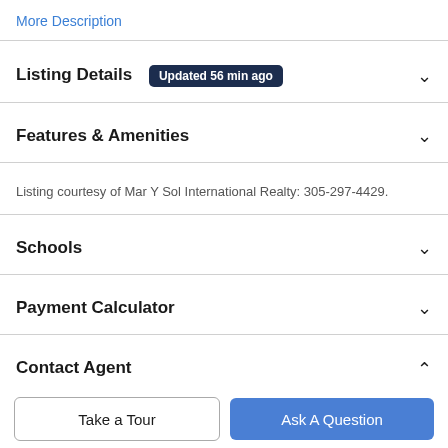More Description
Listing Details  Updated 56 min ago
Features & Amenities
Listing courtesy of Mar Y Sol International Realty: 305-297-4429.
Schools
Payment Calculator
Contact Agent
Take a Tour
Ask A Question